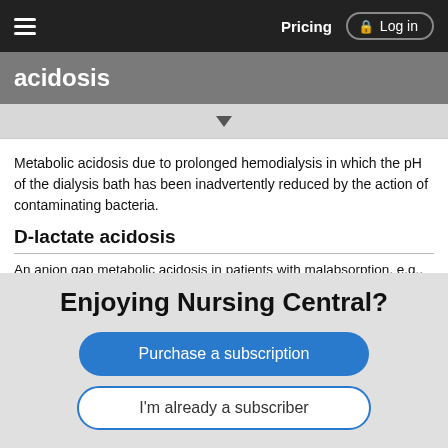Pricing  Log in
acidosis
Metabolic acidosis due to prolonged hemodialysis in which the pH of the dialysis bath has been inadvertently reduced by the action of contaminating bacteria.
D-lactate acidosis
An anion gap metabolic acidosis in patients with malabsorption, e.g., secondary to short gut syndrome or jejunoileal bypass. In this syndrome the delivery of glucose and starch to the colon without prior digestion in the small intestine results in the absorption of the D-isomer of lactate into the blood stream. Patients may experience intoxication or encephalopathy as a
Enjoying Nursing Central?
Purchase a subscription
I'm already a subscriber